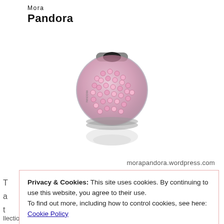Mora
Pandora
[Figure (photo): A Pandora sterling silver charm bead covered in pink pavé crystals, shown with a reflection below on a white background.]
morapandora.wordpress.com
Privacy & Cookies: This site uses cookies. By continuing to use this website, you agree to their use.
To find out more, including how to control cookies, see here: Cookie Policy
Close and accept